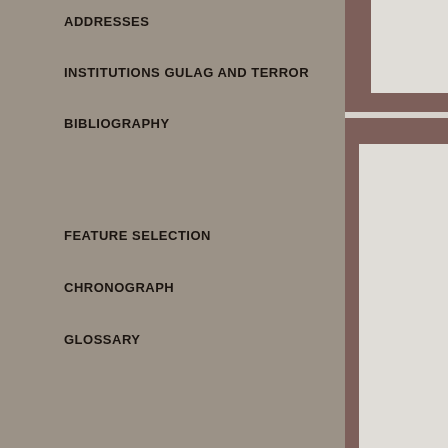ADDRESSES
INSTITUTIONS GULAG AND TERROR
BIBLIOGRAPHY
FEATURE SELECTION
CHRONOGRAPH
GLOSSARY
[Figure (illustration): Decorative right-side panel with brown/mauve blocks and light grey inset rectangles arranged vertically]